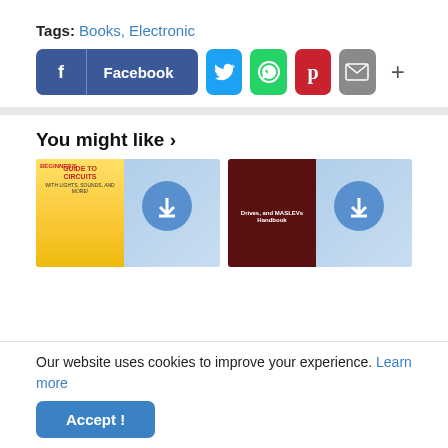Tags: Books, Electronic
[Figure (screenshot): Social share buttons: Facebook, Twitter, WhatsApp, Pinterest, Email, and a plus button]
You might like >
[Figure (screenshot): Two book thumbnail images: Beginner's Guide to Circuits, and Drives and MASLEVs Handbook]
Our website uses cookies to improve your experience. Learn more
Accept !